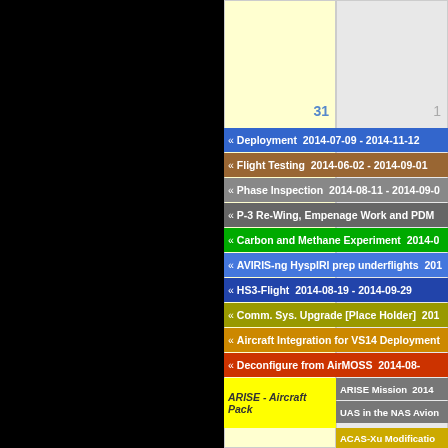[Figure (other): Black starfield background on left half of calendar page]
| 31 | 1 |
| --- | --- |
| ARISE - Aircraft Pack | ARISE Mission 2014-... |
|  | UAS in the NAS Avion... |
|  | ACAS-Xu Modificatio... |
|  | HOLIDAY |
« Deployment  2014-07-09 - 2014-11-12
« Flight Testing  2014-06-02 - 2014-09-01
« Phase Inspection  2014-08-11 - 2014-09-0...
« P-3 Re-Wing, Empenage Work and PDM
« Carbon and Methane Experiment  2014-0...
« AVIRIS-ng HyspIRI prep underflights  201...
« HS3-Flight  2014-08-19 - 2014-09-29
« Comm. Sys. Upgrade [Place Holder]  201...
« Aircraft Integration for VS14 Deployment...
« Deconfigure from AirMOSS  2014-08-...